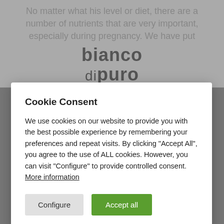[Figure (screenshot): Background webpage content showing partially visible article text and the 'bianco di puro' logo at the top, with grey overlay]
Cookie Consent
We use cookies on our website to provide you with the best possible experience by remembering your preferences and repeat visits. By clicking "Accept All", you agree to the use of ALL cookies. However, you can visit "Configure" to provide controlled consent. More information
Configure | Accept all